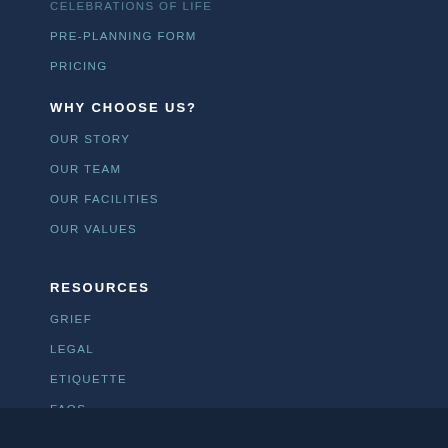CELEBRATIONS OF LIFE
PRE-PLANNING FORM
PRICING
WHY CHOOSE US?
OUR STORY
OUR TEAM
OUR FACILITIES
OUR VALUES
RESOURCES
GRIEF
LEGAL
ETIQUETTE
FAQS